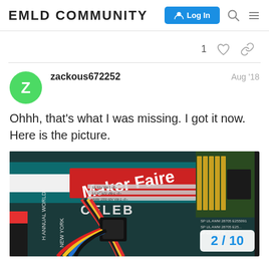EMLID COMMUNITY  Log In
1
zackous672252  Aug '18
Ohhh, that's what I was missing. I got it now. Here is the picture.
[Figure (photo): Photo of electronics hardware (Emlid board with ribbon cables and wires) placed on a Maker Faire New York promotional material background]
2 / 10